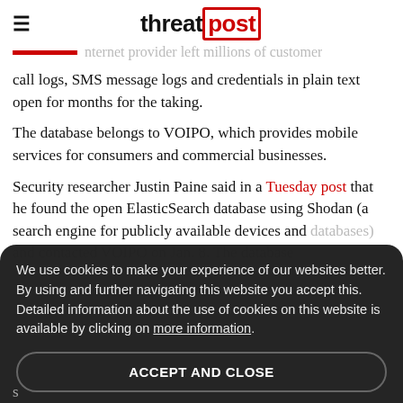threatpost
...nternet provider left millions of customer call logs, SMS message logs and credentials in plain text open for months for the taking.
The database belongs to VOIPO, which provides mobile services for consumers and commercial businesses.
Security researcher Justin Paine said in a Tuesday post that he found the open ElasticSearch database using Shodan (a search engine for publicly available devices and databases) and contacted VOIPO on Jan. 8. The database...
We use cookies to make your experience of our websites better. By using and further navigating this website you accept this. Detailed information about the use of cookies on this website is available by clicking on more information.
ACCEPT AND CLOSE